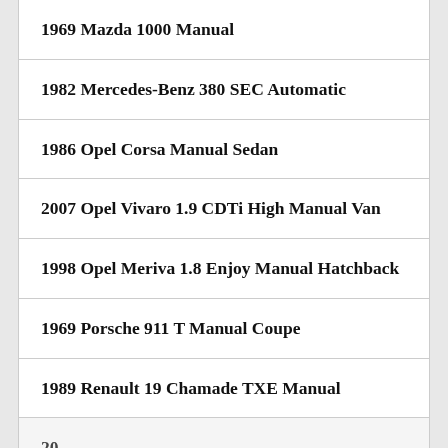1969 Mazda 1000 Manual
1982 Mercedes-Benz 380 SEC Automatic
1986 Opel Corsa Manual Sedan
2007 Opel Vivaro 1.9 CDTi High Manual Van
1998 Opel Meriva 1.8 Enjoy Manual Hatchback
1969 Porsche 911 T Manual Coupe
1989 Renault 19 Chamade TXE Manual